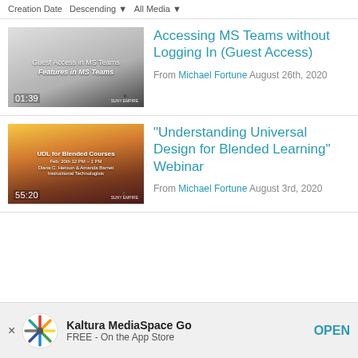Creation Date  Descending ▼  All Media ▼
[Figure (screenshot): Video thumbnail for 'Guest Access in MS Teams / Features in MS Teams', dark gradient background, duration 01:39]
Accessing MS Teams without Logging In (Guest Access)
From Michael Fortune August 26th, 2020
[Figure (screenshot): Video thumbnail for 'UDL for Blended Courses', warm gradient background (gold to dark red), duration 55:20]
"Understanding Universal Design for Blended Learning" Webinar
From Michael Fortune August 3rd, 2020
Kaltura MediaSpace Go
FREE - On the App Store
OPEN